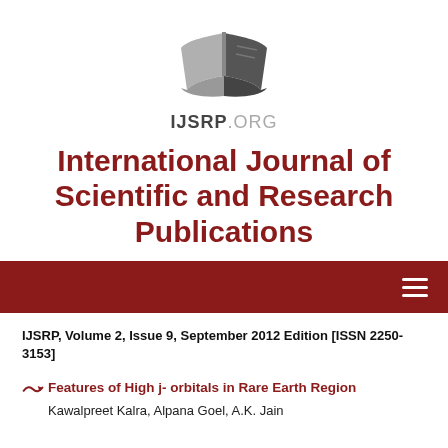[Figure (logo): IJSRP.ORG open book logo with text IJSRP.ORG below]
International Journal of Scientific and Research Publications
IJSRP, Volume 2, Issue 9, September 2012 Edition [ISSN 2250-3153]
Features of High j- orbitals in Rare Earth Region
Kawalpreet Kalra, Alpana Goel, A.K. Jain